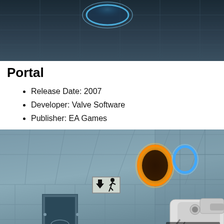[Figure (screenshot): Top portion of a Portal video game screenshot showing a bluish-gray tiled room with a blue portal glowing on the ceiling.]
Portal
Release Date: 2007
Developer: Valve Software
Publisher: EA Games
[Figure (screenshot): Portal game screenshot showing a tiled test chamber room viewed from below. An orange portal and a blue portal ring are visible on the ceiling/wall. A portal gun is visible in the lower right. A sign with a down arrow and running figure is on the wall. A GameSpot watermark is in the bottom right corner.]
Who could have guessed that it was into delicious cake that...